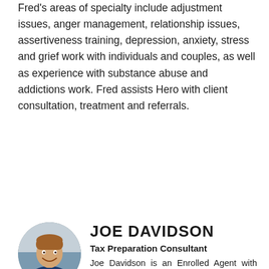Fred's areas of specialty include adjustment issues, anger management, relationship issues, assertiveness training, depression, anxiety, stress and grief work with individuals and couples, as well as experience with substance abuse and addictions work. Fred assists Hero with client consultation, treatment and referrals.
Contact Fred here
JOE DAVIDSON
Tax Preparation Consultant
[Figure (photo): Circular headshot photo of Joe Davidson, a man in a dark blue shirt, smiling]
Joe Davidson is an Enrolled Agent with over 10 years of Tax Preparation